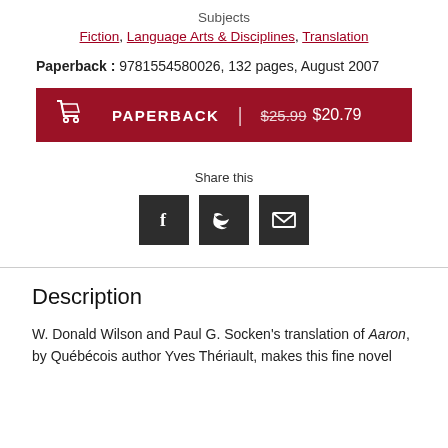Subjects
Fiction, Language Arts & Disciplines, Translation
Paperback : 9781554580026, 132 pages, August 2007
PAPERBACK  |  $25.99 $20.79
Share this
[Figure (infographic): Three social share icon buttons: Facebook (f), Twitter (bird), Email (envelope), each in dark square backgrounds]
Description
W. Donald Wilson and Paul G. Socken's translation of Aaron, by Québécois author Yves Thériault, makes this fine novel